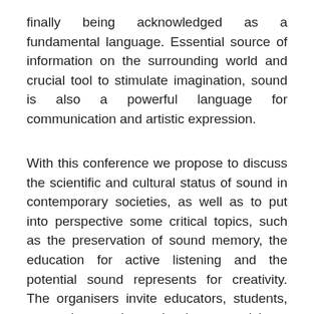finally being acknowledged as a fundamental language. Essential source of information on the surrounding world and crucial tool to stimulate imagination, sound is also a powerful language for communication and artistic expression.
With this conference we propose to discuss the scientific and cultural status of sound in contemporary societies, as well as to put into perspective some critical topics, such as the preservation of sound memory, the education for active listening and the potential sound represents for creativity. The organisers invite educators, students, researchers and sound artists to participate in this two-day event,